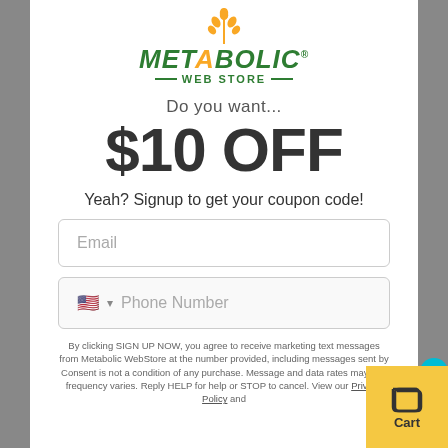[Figure (logo): Metabolic Web Store logo with wheat icon and green text]
Do you want...
$10 OFF
Yeah? Signup to get your coupon code!
Email
Phone Number
By clicking SIGN UP NOW, you agree to receive marketing text messages from Metabolic WebStore at the number provided, including messages sent by autodialer. Consent is not a condition of any purchase. Message and data rates may apply. Message frequency varies. Reply HELP for help or STOP to cancel. View our Privacy Policy and